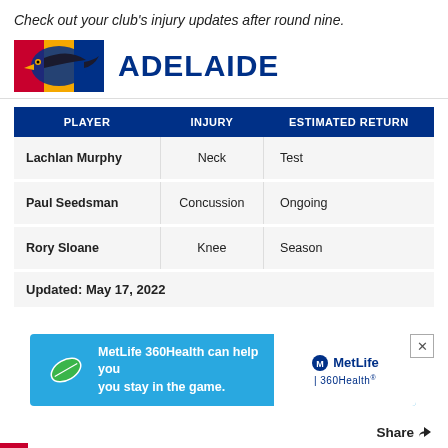Check out your club's injury updates after round nine.
[Figure (logo): Adelaide Crows AFL club logo with red, yellow, and blue stripes and crow graphic]
ADELAIDE
| PLAYER | INJURY | ESTIMATED RETURN |
| --- | --- | --- |
| Lachlan Murphy | Neck | Test |
| Paul Seedsman | Concussion | Ongoing |
| Rory Sloane | Knee | Season |
Updated: May 17, 2022
[Figure (advertisement): MetLife 360Health advertisement banner: 'MetLife 360Health can help you you stay in the game.']